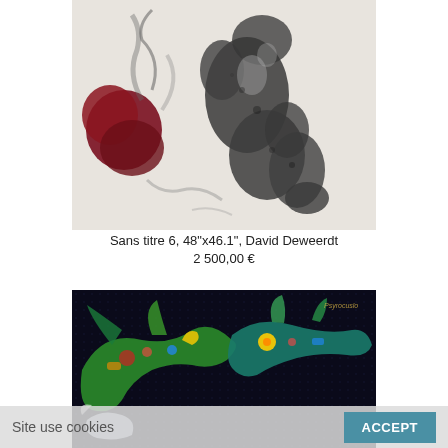[Figure (illustration): Artwork: figurative ink drawing of a crouching human figure with dark smoke/cloud elements and a red flower-like form on the left, on a light background]
Sans titre 6, 48"x46.1", David Deweerdt
2 500,00 €
[Figure (illustration): Artwork: colorful painting of dragon-like creatures on a dark, dotted background, rendered in vivid greens, blues, and reds]
Site use cookies
ACCEPT